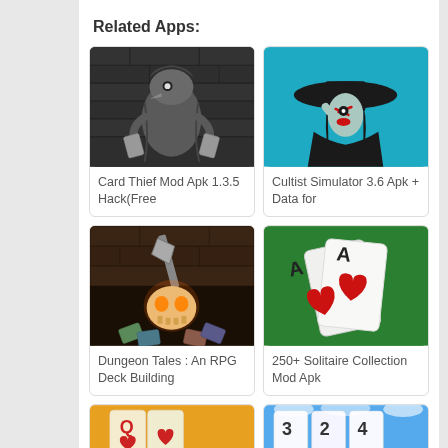Related Apps:
[Figure (illustration): Card Thief game icon - dark monochrome rogue character with bird mask]
Card Thief Mod Apk 1.3.5 Hack(Free
[Figure (illustration): Cultist Simulator icon - stylized woman in black hat on teal background]
Cultist Simulator 3.6 Apk + Data for
[Figure (illustration): Dungeon Tales RPG icon - glowing skull with axe on stone wall background]
Dungeon Tales : An RPG Deck Building
[Figure (illustration): 250+ Solitaire Collection icon - playing cards (Aces with hearts) on green background]
250+ Solitaire Collection Mod Apk
[Figure (illustration): Partial solitaire card game icon - warm orange/gold tones at bottom]
[Figure (illustration): Partial solitaire/card game icon - blue sky tones at bottom]